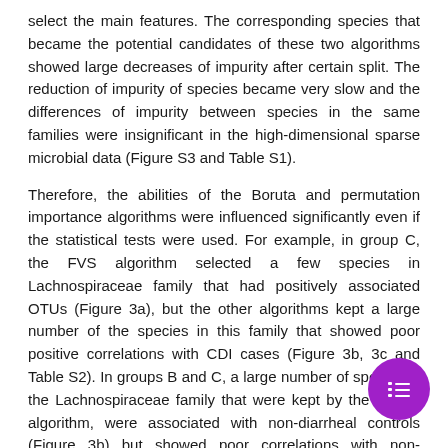select the main features. The corresponding species that became the potential candidates of these two algorithms showed large decreases of impurity after certain split. The reduction of impurity of species became very slow and the differences of impurity between species in the same families were insignificant in the high-dimensional sparse microbial data (Figure S3 and Table S1).
Therefore, the abilities of the Boruta and permutation importance algorithms were influenced significantly even if the statistical tests were used. For example, in group C, the FVS algorithm selected a few species in Lachnospiraceae family that had positively associated OTUs (Figure 3a), but the other algorithms kept a large number of the species in this family that showed poor positive correlations with CDI cases (Figure 3b, 3c and Table S2). In groups B and C, a large number of species in the Lachnospiraceae family that were kept by the Boruta algorithm, were associated with non-diarrheal controls (Figure 3b) but showed poor correlations with non-diarrheal controls (Table S2). Besides, a number of species in the Ruminococcaceae family that were kept only by the Boruta and permutation importance algorithms,